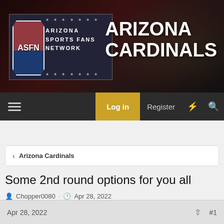[Figure (logo): Arizona Sports Fans Network (ASFN) logo with Arizona Cardinals banner header. Dark red/maroon background with cardinal bird silhouette. ASFN logo box on left with Arizona state flag colors, text reading ARIZONA SPORTS FANS NETWORK with stars border. Right side shows large white bold text ARIZONA CARDINALS.]
Log in  Register
Arizona Cardinals
Some 2nd round options for you all
Chopper0080 · Apr 28, 2022
1 of 3  Next  ▶▶
Apr 28, 2022  #1